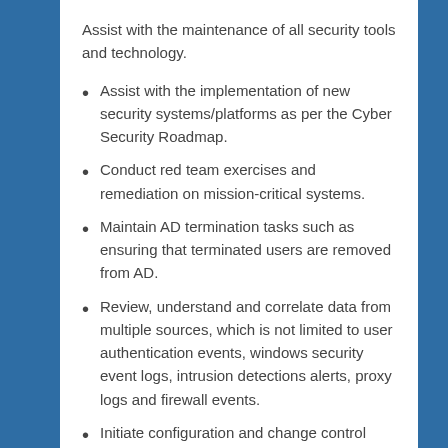Assist with the maintenance of all security tools and technology.
Assist with the implementation of new security systems/platforms as per the Cyber Security Roadmap.
Conduct red team exercises and remediation on mission-critical systems.
Maintain AD termination tasks such as ensuring that terminated users are removed from AD.
Review, understand and correlate data from multiple sources, which is not limited to user authentication events, windows security event logs, intrusion detections alerts, proxy logs and firewall events.
Initiate configuration and change control records with regards to IT security system activities.
Respond to security incidents, including